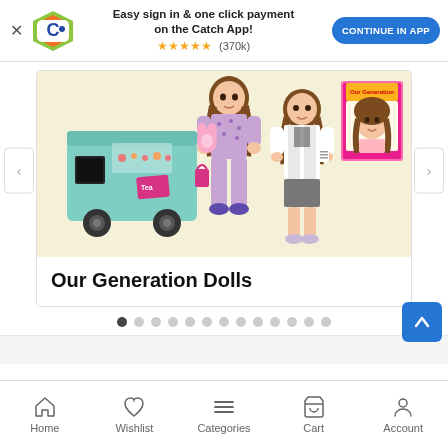Easy sign in & one click payment on the Catch App! ★★★★★ (370k) CONTINUE IN APP
[Figure (screenshot): Catch app promotional banner with Catch logo, text 'Easy sign in & one click payment on the Catch App!', 5 star rating with (370k) reviews, and blue 'CONTINUE IN APP' button]
[Figure (photo): Our Generation Dolls product carousel image showing a teal food truck toy, two dolls (one in pajamas holding a stuffed animal, one in doctor outfit), and a doll head styling box, on a cream/beige background]
Our Generation Dolls
Home  Wishlist  Categories  Cart  Account